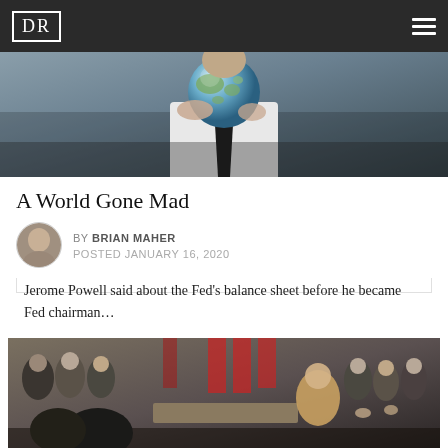DR
[Figure (photo): A person in a white shirt and dark tie holding a globe, dark background]
A World Gone Mad
BY BRIAN MAHER
POSTED JANUARY 16, 2020
Jerome Powell said about the Fed’s balance sheet before he became Fed chairman…
[Figure (photo): Group of people in suits at a formal signing ceremony with US and Chinese flags in background, including President Trump]